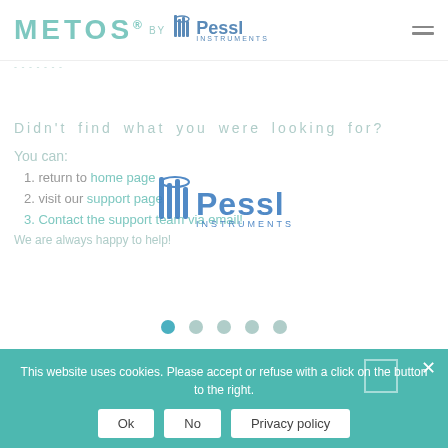[Figure (logo): METOS by Pessl Instruments logo in header, teal/blue color scheme]
...
Didn't find what you were looking for?
[Figure (logo): Pessl Instruments logo overlaid in center of page]
You can:
1. return to home page
2. visit our support page
3. Contact the support team via email!
We are always happy to help!
This website uses cookies. Please accept or refuse with a click on the button to the right.